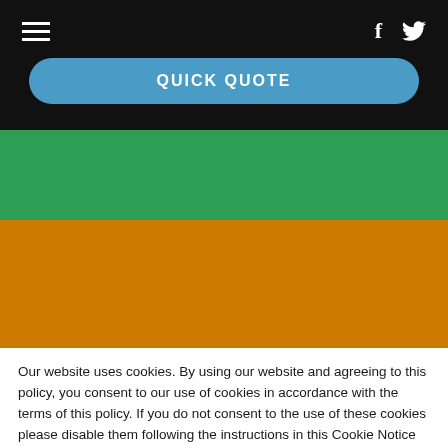Navigation bar with hamburger menu, Facebook and Twitter icons, and QUICK QUOTE button
[Figure (screenshot): Green banner band below navigation]
[Figure (screenshot): Orange/amber banner band for Commercial Vehicles section]
Commercial Vehicles
Our website uses cookies. By using our website and agreeing to this policy, you consent to our use of cookies in accordance with the terms of this policy. If you do not consent to the use of these cookies please disable them following the instructions in this Cookie Notice so that cookies from this website cannot be placed on your device.
I ACCEPT COOKIES